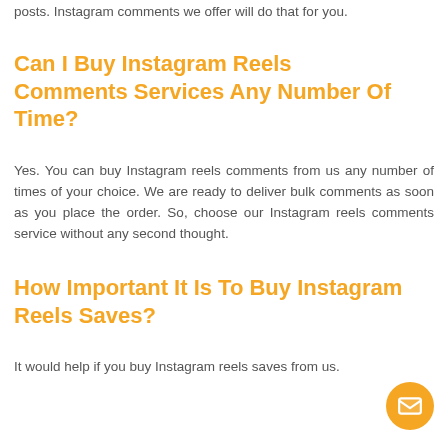posts. Instagram comments we offer will do that for you.
Can I Buy Instagram Reels Comments Services Any Number Of Time?
Yes. You can buy Instagram reels comments from us any number of times of your choice. We are ready to deliver bulk comments as soon as you place the order. So, choose our Instagram reels comments service without any second thought.
How Important It Is To Buy Instagram Reels Saves?
It would help if you buy Instagram reels saves from us.